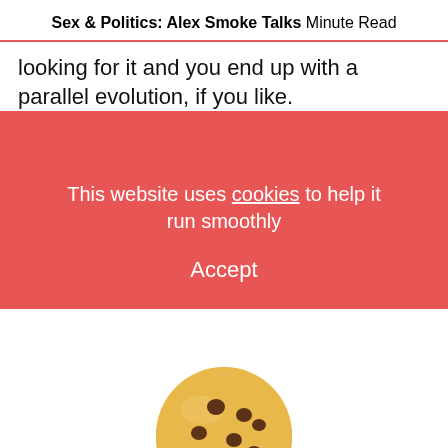Sex & Politics: Alex Smoke Talks
Minute Read
looking for it and you end up with a parallel evolution, if you like.
Was there anything like that from this album where you felt someo…on a similar
[Figure (illustration): A chocolate chip cookie emoji overlaying the text and red cookie consent banner]
This website uses cookies to help it run smoothly
Accept